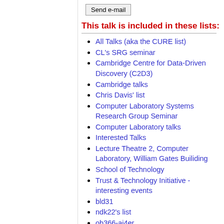Send e-mail
This talk is included in these lists:
All Talks (aka the CURE list)
CL's SRG seminar
Cambridge Centre for Data-Driven Discovery (C2D3)
Cambridge talks
Chris Davis' list
Computer Laboratory Systems Research Group Seminar
Computer Laboratory talks
Interested Talks
Lecture Theatre 2, Computer Laboratory, William Gates Builiding
School of Technology
Trust & Technology Initiative - interesting events
bld31
ndk22's list
ob366-ai4er
rp587